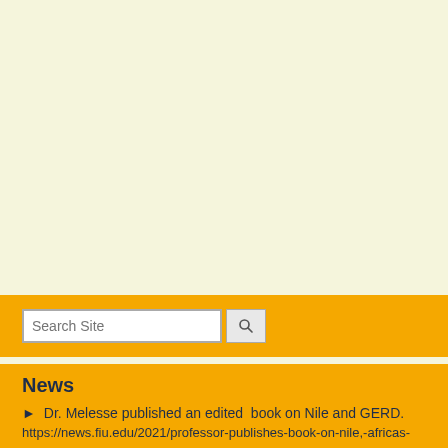[Figure (screenshot): Top cream/beige background area of a university website page]
Search Site
News
► Dr. Melesse published an edited book on Nile and GERD.
https://news.fiu.edu/2021/professor-publishes-book-on-nile,-africas-